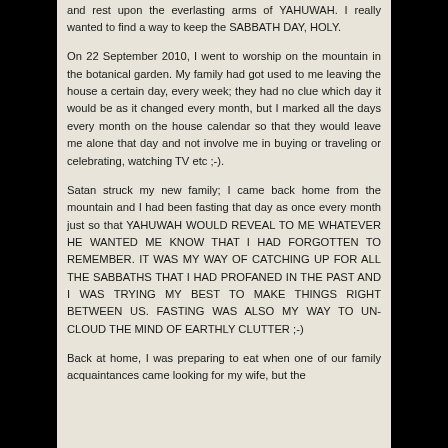and rest upon the everlasting arms of YAHUWAH. I really wanted to find a way to keep the SABBATH DAY, HOLY.
On 22 September 2010, I went to worship on the mountain in the botanical garden. My family had got used to me leaving the house a certain day, every week; they had no clue which day it would be as it changed every month, but I marked all the days every month on the house calendar so that they would leave me alone that day and not involve me in buying or traveling or celebrating, watching TV etc ;-).
Satan struck my new family; I came back home from the mountain and I had been fasting that day as once every month just so that YAHUWAH WOULD REVEAL TO ME WHATEVER HE WANTED ME KNOW THAT I HAD FORGOTTEN TO REMEMBER. IT WAS MY WAY OF CATCHING UP FOR ALL THE SABBATHS THAT I HAD PROFANED IN THE PAST AND I WAS TRYING MY BEST TO MAKE THINGS RIGHT BETWEEN US. FASTING WAS ALSO MY WAY TO UN-CLOUD THE MIND OF EARTHLY CLUTTER ;-)
Back at home, I was preparing to eat when one of our family acquaintances came looking for my wife, but the